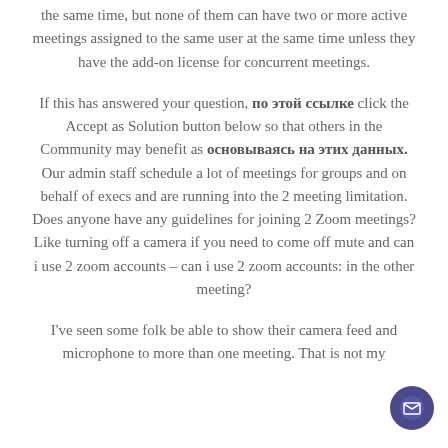the same time, but none of them can have two or more active meetings assigned to the same user at the same time unless they have the add-on license for concurrent meetings.
If this has answered your question, по этой ссылке click the Accept as Solution button below so that others in the Community may benefit as основываясь на этих данных. Our admin staff schedule a lot of meetings for groups and on behalf of execs and are running into the 2 meeting limitation. Does anyone have any guidelines for joining 2 Zoom meetings? Like turning off a camera if you need to come off mute and can i use 2 zoom accounts – can i use 2 zoom accounts: in the other meeting?
I've seen some folk be able to show their camera feed and microphone to more than one meeting. That is not my